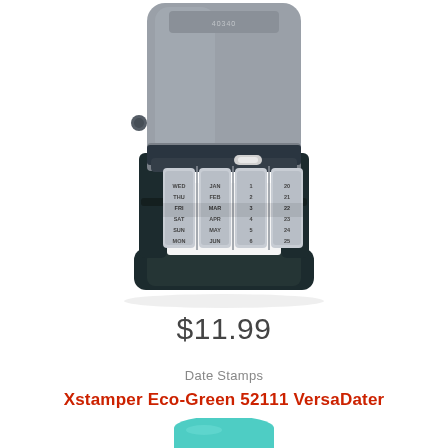[Figure (photo): A date stamp device (date wheel stamp/dater) shown from the back, with gray and dark charcoal/black plastic body, featuring multiple rolling date wheels visible in the center mechanism. The stamp has a top handle/body in light gray and a black base frame.]
$11.99
Date Stamps
Xstamper Eco-Green 52111 VersaDater
[Figure (photo): Partial view of a teal/mint green Xstamper Eco-Green stamp top, showing the brand logo 'Xstamper' on a rounded green body, cropped at the bottom edge of the page.]